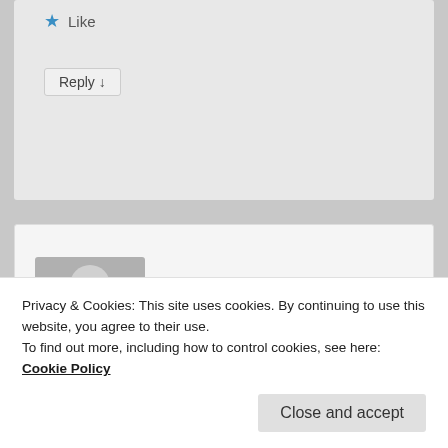[Figure (other): Like button with blue star icon and text 'Like']
Reply ↓
[Figure (other): User avatar placeholder showing silhouette of a person on grey background]
Joe Stagg on May 31, 2016 at 8:16 PM said:
I am interested in this method. I have recently been diagnosed with squamous cell carcinoma. Quite curable, but also have high C reactive
Privacy & Cookies: This site uses cookies. By continuing to use this website, you agree to their use.
To find out more, including how to control cookies, see here: Cookie Policy
Close and accept